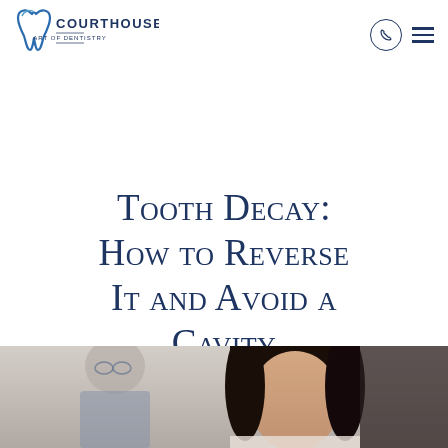Courthouse Art of Dentistry
Tooth Decay: How to Reverse It and Avoid a Cavity
[Figure (photo): Photo of a female patient with dark hair and a dental professional in the background wearing glasses, at a dental clinic]